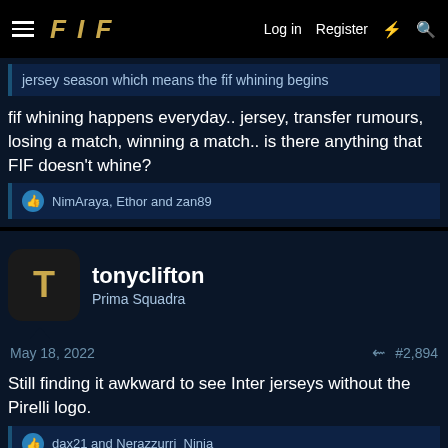FIF — Log in  Register
jersey season which means the fif whining begins
fif whining happens everyday.. jersey, transfer rumours, losing a match, winning a match.. is there anything that FIF doesn't whine?
NimAraya, Ethor and zan89
tonyclifton — Prima Squadra
May 18, 2022   #2,894
Still finding it awkward to see Inter jerseys without the Pirelli logo.
dax21 and Nerazzurri_Ninja
William — Allenatore